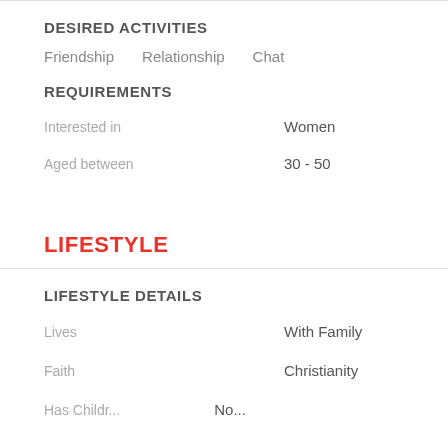DESIRED ACTIVITIES
Friendship   Relationship   Chat
REQUIREMENTS
Interested in   Women
Aged between   30 - 50
LIFESTYLE
LIFESTYLE DETAILS
Lives   With Family
Faith   Christianity
Has Childre...   No...